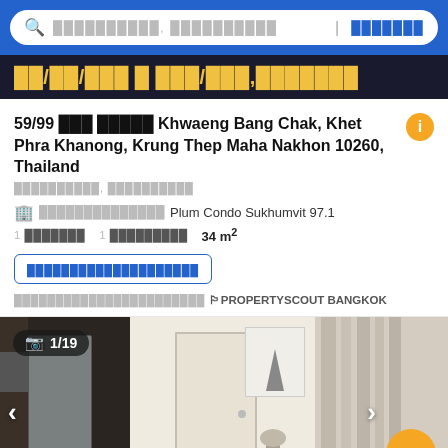[Figure (screenshot): Mobile app search bar with Thai language placeholder text on blue background]
[Figure (screenshot): Price banner showing Thai baht price in yellow text on dark background]
59/99 ตำบล บางจาก Khwaeng Bang Chak, Khet Phra Khanong, Krung Thep Maha Nakhon 10260, Thailand
ตำบลบางจาก, เขตพระโขนง
🏢 ชื่ออาคารชุด Plum Condo Sukhumvit 97.1
1 ห้องนอน   1 ห้องน้ำ   34 m²
ติดต่อเจ้าของประกาศ
ประกาศโดยเอเจนซี่ 🏳️PROPERTYSCOUT BANGKOK
[Figure (photo): Interior photo of a condominium unit showing kitchen area with refrigerator and washing machine on left, hallway with door in center, Eiffel Tower artwork on wall, and curtains on right. Photo counter shows 1/19.]